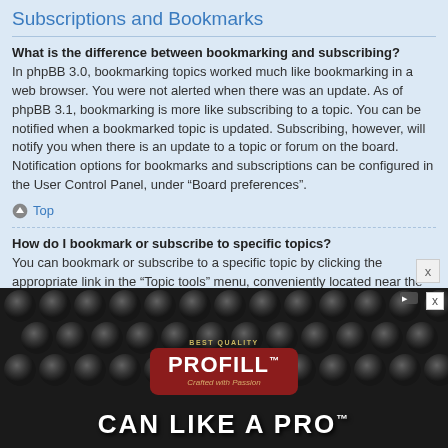Subscriptions and Bookmarks
What is the difference between bookmarking and subscribing?
In phpBB 3.0, bookmarking topics worked much like bookmarking in a web browser. You were not alerted when there was an update. As of phpBB 3.1, bookmarking is more like subscribing to a topic. You can be notified when a bookmarked topic is updated. Subscribing, however, will notify you when there is an update to a topic or forum on the board. Notification options for bookmarks and subscriptions can be configured in the User Control Panel, under “Board preferences”.
Top
How do I bookmark or subscribe to specific topics?
You can bookmark or subscribe to a specific topic by clicking the appropriate link in the “Topic tools” menu, conveniently located near the top and bottom of a topic discussion.
Replying to a topic with the “Notify me when a reply is posted” option checked will also subscribe you to the topic.
[Figure (photo): Advertisement for PROFILL CAN LIKE A PRO product, showing metallic cans in background with red badge and white text]